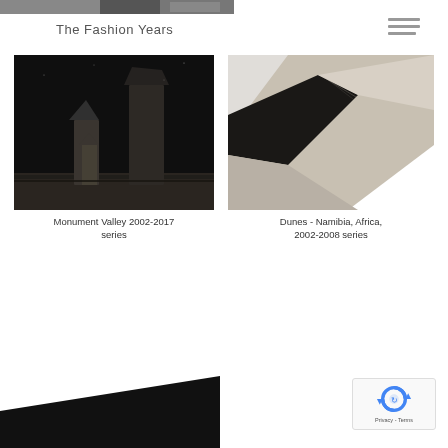[Figure (photo): Top edge of a cropped black and white fashion/abstract photograph]
The Fashion Years
[Figure (photo): Black and white photograph of Monument Valley with dramatic rock formations and dark sky]
Monument Valley 2002-2017 series
[Figure (photo): Black and white close-up photograph of sand dunes in Namibia, Africa with strong shadows]
Dunes - Namibia, Africa, 2002-2008 series
[Figure (photo): Bottom partial dark photograph, cropped at page bottom]
[Figure (other): Google reCAPTCHA badge with Privacy and Terms text]